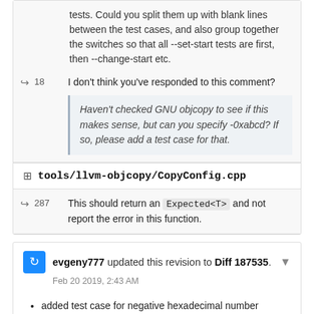tests. Could you split them up with blank lines between the test cases, and also group together the switches so that all --set-start tests are first, then --change-start etc.
18   I don't think you've responded to this comment?
Haven't checked GNU objcopy to see if this makes sense, but can you specify -0xabcd? If so, please add a test case for that.
tools/llvm-objcopy/CopyConfig.cpp
287   This should return an Expected<T> and not report the error in this function.
evgeny777 updated this revision to Diff 187535. Feb 20 2019, 2:43 AM
added test case for negative hexadecimal number